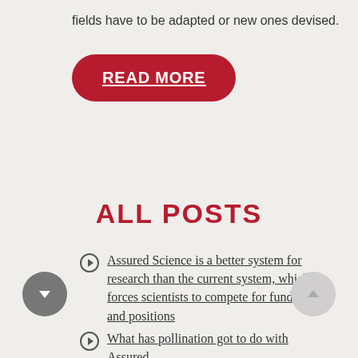fields have to be adapted or new ones devised.
READ MORE
ALL POSTS
Assured Science is a better system for research than the current system, which forces scientists to compete for funds and positions
What has pollination got to do with Assured